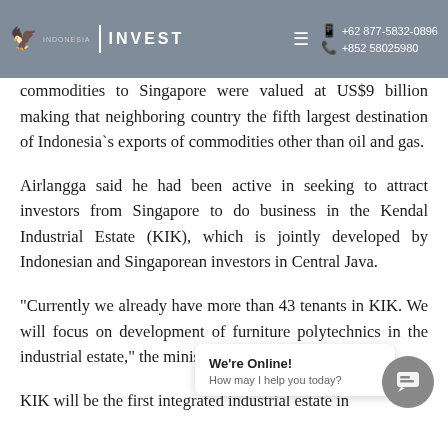INVEST | +62 877-5832-0896 | +852 58025980
commodities to Singapore were valued at US$9 billion making that neighboring country the fifth largest destination of Indonesia`s exports of commodities other than oil and gas.
Airlangga said he had been active in seeking to attract investors from Singapore to do business in the Kendal Industrial Estate (KIK), which is jointly developed by Indonesian and Singaporean investors in Central Java.
“Currently we already have more than 43 tenants in KIK. We will focus on development of furniture polytechnics in the industrial estate,” the minister said.
KIK will be the first integrated industrial estate in